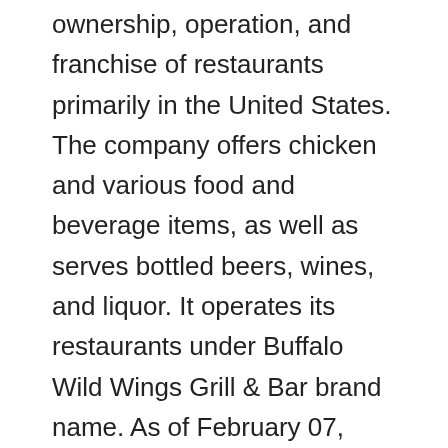ownership, operation, and franchise of restaurants primarily in the United States. The company offers chicken and various food and beverage items, as well as serves bottled beers, wines, and liquor. It operates its restaurants under Buffalo Wild Wings Grill & Bar brand name. As of February 07, 2012, the company had 827 Buffalo Wild Wings locations across 47 states in the United States, as well as in Canada. Buffalo Wild Wings, Inc. was founded in 1982 and is headquartered in Minneapolis, Minnesota.
Grand Canyon Education